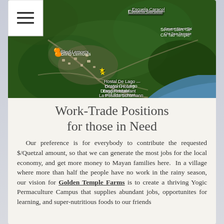[Figure (map): Satellite/aerial map view showing a lakeside village area with labeled locations: Escuela Caracol, Seven Stars Tai Chi Tao Temple, Blind Lemon's, Hostal De Lago, Dragon Hotel and Restaurant, La Posada Schumann. A hamburger menu icon is in the top-left corner.]
Work-Trade Positions for those in Need
Our preference is for everybody to contribute the requested $/Quetzal amount, so that we can generate the most jobs for the local economy, and get more money to Mayan families here.  In a village where more than half the people have no work in the rainy season, our vision for Golden Temple Farms is to create a thriving Yogic Permaculture Campus that supplies abundant jobs, opportunites for learning, and super-nutritious foods to our friends